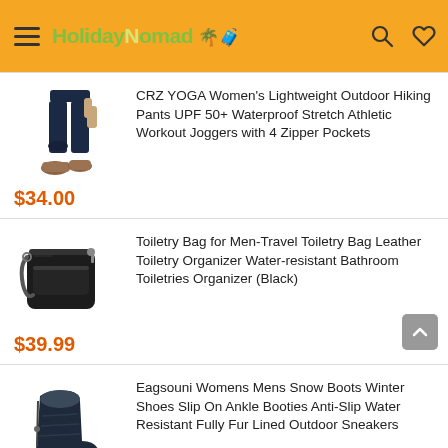HolidayNomad — navigation header with menu, logo, search and wishlist icons
[Figure (photo): Woman wearing dark navy hiking/jogger pants with brown trail shoes]
CRZ YOGA Women's Lightweight Outdoor Hiking Pants UPF 50+ Waterproof Stretch Athletic Workout Joggers with 4 Zipper Pockets
$34.00
[Figure (photo): Black leather travel toiletry bag with zipper and shoulder strap]
Toiletry Bag for Men-Travel Toiletry Bag Leather Toiletry Organizer Water-resistant Bathroom Toiletries Organizer (Black)
$39.99
[Figure (photo): Dark navy/black ankle snow boot with fur lining and rubber sole]
Eagsouni Womens Mens Snow Boots Winter Shoes Slip On Ankle Booties Anti-Slip Water Resistant Fully Fur Lined Outdoor Sneakers